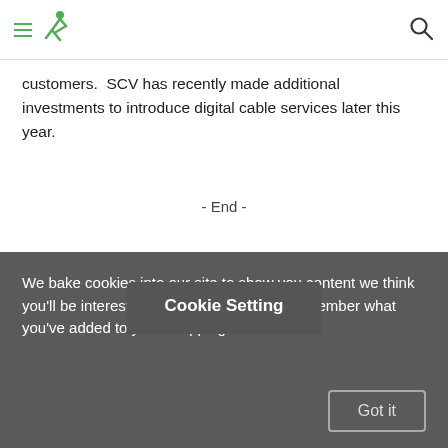[Navigation header with hamburger menu, logo, and search icon]
customers.  SCV has recently made additional investments to introduce digital cable services later this year.
- End -
Cookie Setting
We bake cookies into our site to show you content we think you’ll be interested in, and do things like remember what you’ve added to your shopping car...
Got it